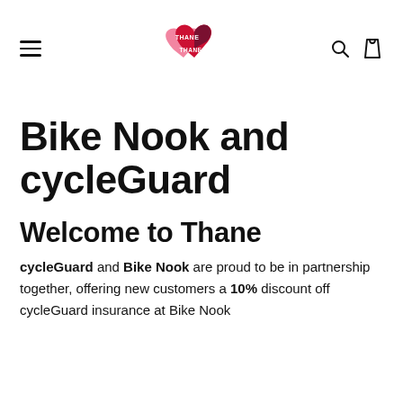Thane — navigation header with hamburger menu, logo, search, and cart icons
Bike Nook and cycleGuard
Welcome to Thane
cycleGuard and Bike Nook are proud to be in partnership together, offering new customers a 10% discount off cycleGuard insurance at Bike Nook...